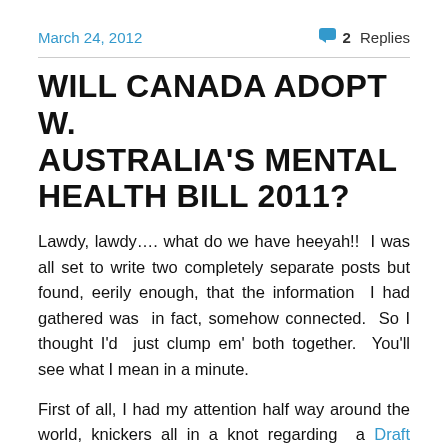March 24, 2012    2 Replies
WILL CANADA ADOPT W. AUSTRALIA'S MENTAL HEALTH BILL 2011?
Lawdy, lawdy…. what do we have heeyah!!  I was all set to write two completely separate posts but found, eerily enough, that the information  I had gathered was  in fact, somehow connected.  So I thought I'd  just clump em' both together.  You'll see what I mean in a minute.
First of all, I had my attention half way around the world, knickers all in a knot regarding  a Draft Mental Health Bill